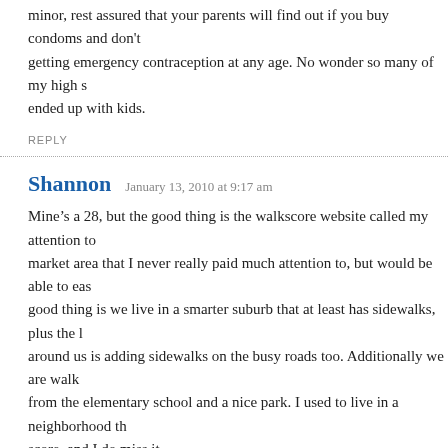minor, rest assured that your parents will find out if you buy condoms and don't getting emergency contraception at any age. No wonder so many of my high s ended up with kids.
REPLY
Shannon   January 13, 2010 at 9:17 am
Mine’s a 28, but the good thing is the walkscore website called my attention to market area that I never really paid much attention to, but would be able to eas good thing is we live in a smarter suburb that at least has sidewalks, plus the l around us is adding sidewalks on the busy roads too. Additionally we are walk from the elementary school and a nice park. I used to live in a neighborhood t score, and I do miss it.
REPLY
Ashley   January 13, 2010 at 9:35 am
My score is a 22! I have to say though that it should be a little higher because